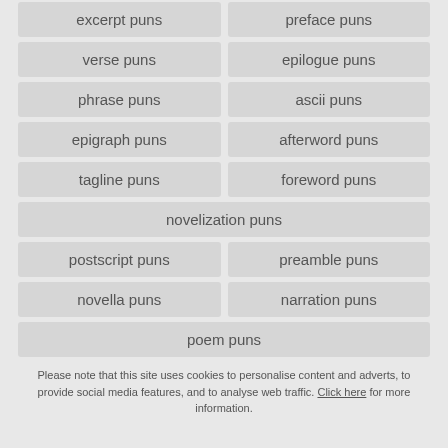excerpt puns
preface puns
verse puns
epilogue puns
phrase puns
ascii puns
epigraph puns
afterword puns
tagline puns
foreword puns
novelization puns
postscript puns
preamble puns
novella puns
narration puns
poem puns
Please note that this site uses cookies to personalise content and adverts, to provide social media features, and to analyse web traffic. Click here for more information.